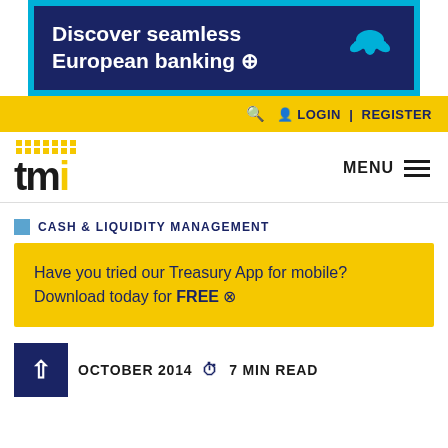[Figure (other): Barclays bank advertisement banner with blue background reading 'Discover seamless European banking' with arrow icon and eagle logo]
🔍  👤 LOGIN | REGISTER
[Figure (logo): TMI logo with yellow dots grid above letters tmi, with yellow i]
MENU ≡
CASH & LIQUIDITY MANAGEMENT
Have you tried our Treasury App for mobile? Download today for FREE ⊕
OCTOBER 2014  ⏱ 7 MIN READ